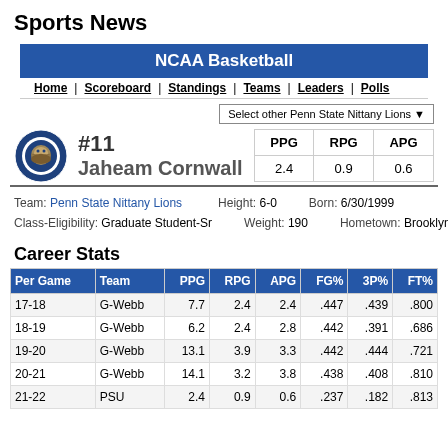Sports News
NCAA Basketball
Home | Scoreboard | Standings | Teams | Leaders | Polls
Select other Penn State Nittany Lions
#11 Jaheam Cornwall
| PPG | RPG | APG |
| --- | --- | --- |
| 2.4 | 0.9 | 0.6 |
Team: Penn State Nittany Lions  Height: 6-0  Born: 6/30/1999
Class-Eligibility: Graduate Student-Sr  Weight: 190  Hometown: Brooklyn, NY
Career Stats
| Per Game | Team | PPG | RPG | APG | FG% | 3P% | FT% |
| --- | --- | --- | --- | --- | --- | --- | --- |
| 17-18 | G-Webb | 7.7 | 2.4 | 2.4 | .447 | .439 | .800 |
| 18-19 | G-Webb | 6.2 | 2.4 | 2.8 | .442 | .391 | .686 |
| 19-20 | G-Webb | 13.1 | 3.9 | 3.3 | .442 | .444 | .721 |
| 20-21 | G-Webb | 14.1 | 3.2 | 3.8 | .438 | .408 | .810 |
| 21-22 | PSU | 2.4 | 0.9 | 0.6 | .237 | .182 | .813 |